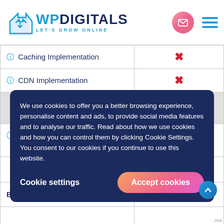[Figure (logo): WPDigitals logo with tagline 'LET'S GROW ONLINE' and navigation icons]
| Feature | Value |
| --- | --- |
| Caching Implementation | ✗ |
| CDN Implementation | ✗ |
| Monthly Preventive Health Check |  |
| Updating the WordPress form (Core & Plugins) | 1 |
| Advanced Malware, | ✗ |
We use cookies to offer you a better browsing experience, personalise content and ads, to provide social media features and to analyse our traffic. Read about how we use cookies and how you can control them by clicking Cookie Settings. You consent to our cookies if you continue to use this website.
Cookie settings   Accept cookies